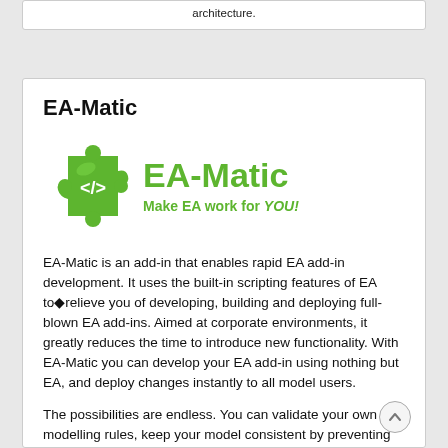architecture.
EA-Matic
[Figure (logo): EA-Matic logo: green puzzle piece with </> symbol and text 'EA-Matic Make EA work for YOU!']
EA-Matic is an add-in that enables rapid EA add-in development. It uses the built-in scripting features of EA to◆relieve you of developing, building and deploying full-blown EA add-ins. Aimed at corporate environments, it greatly reduces the time to introduce new functionality. With EA-Matic you can develop your EA add-in using nothing but EA, and deploy changes instantly to all model users.
The possibilities are endless. You can validate your own modelling rules, keep your model consistent by preventing the deletion of elements that are still